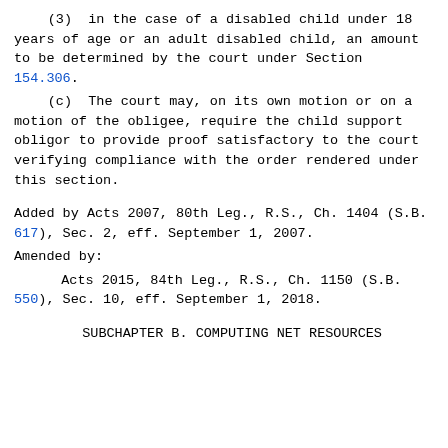(3)  in the case of a disabled child under 18 years of age or an adult disabled child, an amount to be determined by the court under Section 154.306.
(c)  The court may, on its own motion or on a motion of the obligee, require the child support obligor to provide proof satisfactory to the court verifying compliance with the order rendered under this section.
Added by Acts 2007, 80th Leg., R.S., Ch. 1404 (S.B. 617), Sec. 2, eff. September 1, 2007.
Amended by:
Acts 2015, 84th Leg., R.S., Ch. 1150 (S.B. 550), Sec. 10, eff. September 1, 2018.
SUBCHAPTER B. COMPUTING NET RESOURCES